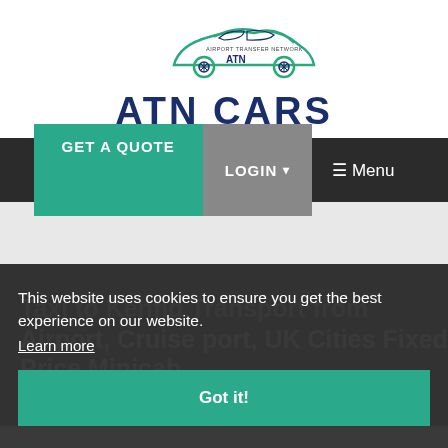[Figure (logo): ATN Cars Airport Transfer Network logo with car illustration and bold text 'ATN CARS']
GET A QUOTE | LOGIN ▾ | ☰ Menu
Taxi to Kenfig Transport from Airport, Cruise port, UK Cities Fixed Price Minicab
This website uses cookies to ensure you get the best experience on our website. Learn more
Got it!